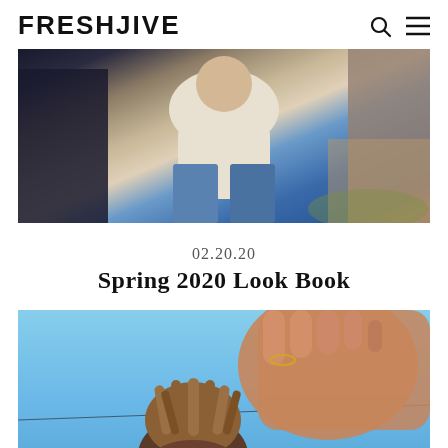FRESHJIVE
[Figure (photo): Person sitting cross-legged wearing white shirt and blue jeans, another person in dark clothing and a third in grey/brown textured clothing, outdoor setting]
02.20.20
Spring 2020 Look Book
[Figure (photo): Person with dreadlocks tied up holding hand out toward camera against blue sky background]